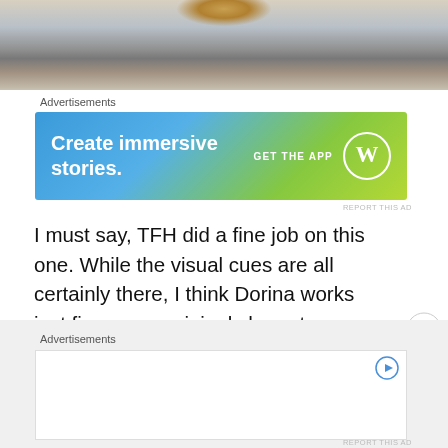[Figure (photo): Close-up photo of an insect/larva on a rocky or sandy surface with snow]
Advertisements
[Figure (other): WordPress advertisement banner: Create immersive stories. GET THE APP with WordPress logo]
I must say, TFH did a fine job on this one. While the visual cues are all certainly there, I think Dorina works just fine as an original character as well. Yes, Dorina is cobbled together from from pre-existing parts, but since I have yet to review all the figures that came before her, this is one of those instances where many of these parts are new to me
Advertisements
[Figure (other): Second advertisement banner area with play button]